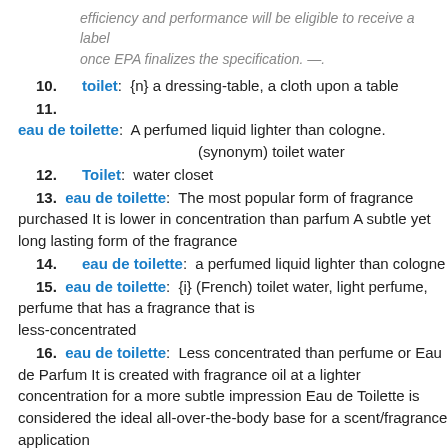efficiency and performance will be eligible to receive a label once EPA finalizes the specification. —.
10. toilet: {n} a dressing-table, a cloth upon a table
11. eau de toilette: A perfumed liquid lighter than cologne. (synonym) toilet water
12. Toilet: water closet
13. eau de toilette: The most popular form of fragrance purchased It is lower in concentration than parfum A subtle yet long lasting form of the fragrance
14. eau de toilette: a perfumed liquid lighter than cologne
15. eau de toilette: {i} (French) toilet water, light perfume, perfume that has a fragrance that is less-concentrated
16. eau de toilette: Less concentrated than perfume or Eau de Parfum It is created with fragrance oil at a lighter concentration for a more subtle impression Eau de Toilette is considered the ideal all-over-the-body base for a scent/fragrance application
17. eau de toilette: A less-concentrated fragrance containing less oil and more alcohol
18. toilet: Act or mode of dressing, or that which is arranged in dressing; attire; dress; as, her toilet is perfect